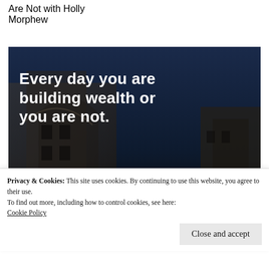Are Not with Holly Morphew
[Figure (photo): Dark architectural/building background image with white quote text overlay reading 'Every day you are building wealth or you are not.' and a script signature 'Holly Morphew' at the bottom right.]
Privacy & Cookies: This site uses cookies. By continuing to use this website, you agree to their use.
To find out more, including how to control cookies, see here:
Cookie Policy
Close and accept